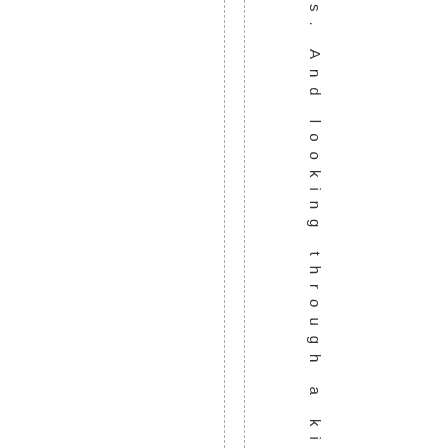s. And looking through a kind of wind